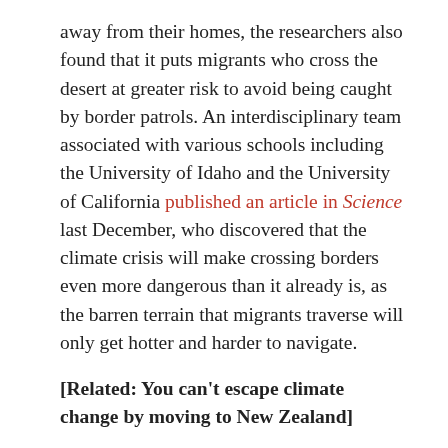away from their homes, the researchers also found that it puts migrants who cross the desert at greater risk to avoid being caught by border patrols. An interdisciplinary team associated with various schools including the University of Idaho and the University of California published an article in Science last December, who discovered that the climate crisis will make crossing borders even more dangerous than it already is, as the barren terrain that migrants traverse will only get hotter and harder to navigate.
[Related: You can't escape climate change by moving to New Zealand]
"We see that migrant travel will become much more dangerous over the next 30 years," said Reena Walker, graduate science student at the University of Idaho and co-lead author of the study via a University of Idaho press release. "By 2050, the already high costs of crossing the desert will likely increase by more than 30 percent."